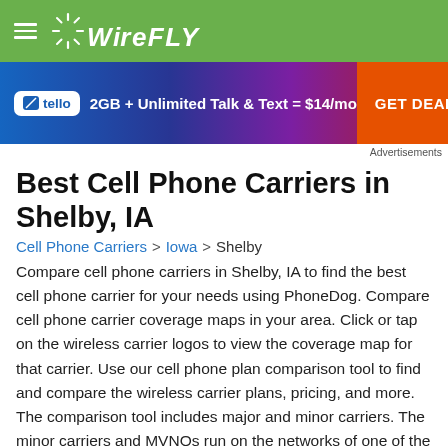WIREFLY
[Figure (other): Tello advertisement banner: '2GB + Unlimited Talk & Text = $14/mo' with GET DEAL button]
Advertisements
Best Cell Phone Carriers in Shelby, IA
Cell Phone Carriers > Iowa > Shelby
Compare cell phone carriers in Shelby, IA to find the best cell phone carrier for your needs using PhoneDog. Compare cell phone carrier coverage maps in your area. Click or tap on the wireless carrier logos to view the coverage map for that carrier. Use our cell phone plan comparison tool to find and compare the wireless carrier plans, pricing, and more. The comparison tool includes major and minor carriers. The minor carriers and MVNOs run on the networks of one of the major carriers.